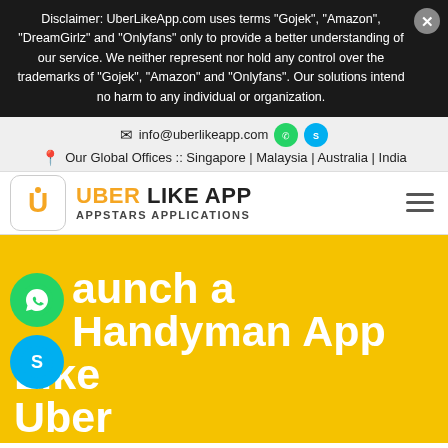Disclaimer: UberLikeApp.com uses terms "Gojek", "Amazon", "DreamGirlz" and "Onlyfans" only to provide a better understanding of our service. We neither represent nor hold any control over the trademarks of "Gojek", "Amazon" and "Onlyfans". Our solutions intend no harm to any individual or organization.
info@uberlikeapp.com
Our Global Offices :: Singapore | Malaysia | Australia | India
[Figure (logo): Uber Like App logo with orange U icon and text UBER LIKE APP / APPSTARS APPLICATIONS]
Launch a Handyman App Like Uber